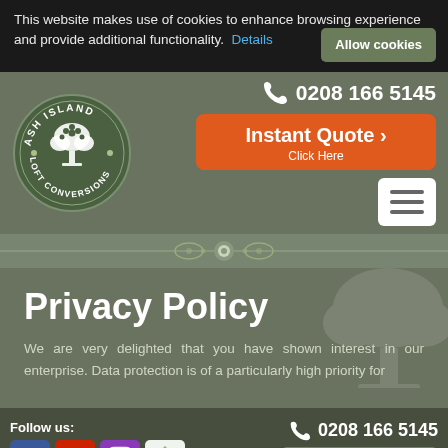This website makes use of cookies to enhance browsing experience and provide additional functionality. Details
[Figure (logo): Ash Island Loft Conversions circular logo with tree illustration in green and white]
0208 166 5145
Instant Quote › Click Here
[Figure (illustration): Decorative ornament divider with circular motif]
Privacy Policy
We are very delighted that you have shown interest in our enterprise. Data protection is of a particularly high priority for
Follow us:
[Figure (logo): Social media icons: Facebook, YouTube, Instagram, Houzz]
0208 166 5145
Instant Quote ›